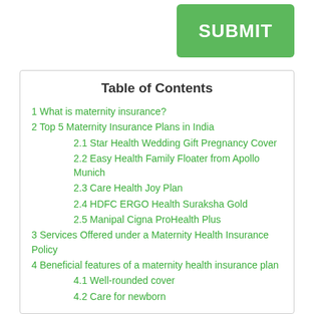SUBMIT
Table of Contents
1 What is maternity insurance?
2 Top 5 Maternity Insurance Plans in India
2.1 Star Health Wedding Gift Pregnancy Cover
2.2 Easy Health Family Floater from Apollo Munich
2.3 Care Health Joy Plan
2.4 HDFC ERGO Health Suraksha Gold
2.5 Manipal Cigna ProHealth Plus
3 Services Offered under a Maternity Health Insurance Policy
4 Beneficial features of a maternity health insurance plan
4.1 Well-rounded cover
4.2 Care for newborn